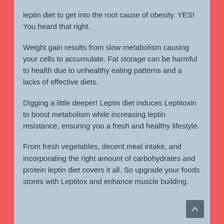leptin diet to get into the root cause of obesity. YES! You heard that right.
Weight gain results from slow metabolism causing your cells to accumulate. Fat storage can be harmful to health due to unhealthy eating patterns and a lacks of effective diets.
Digging a little deeper! Leptin diet induces Leptitoxin to boost metabolism while increasing leptin resistance, ensuring you a fresh and healthy lifestyle.
From fresh vegetables, decent meal intake, and incorporating the right amount of carbohydrates and protein leptin diet covers it all. So upgrade your foods stores with Leptitox and enhance muscle building.